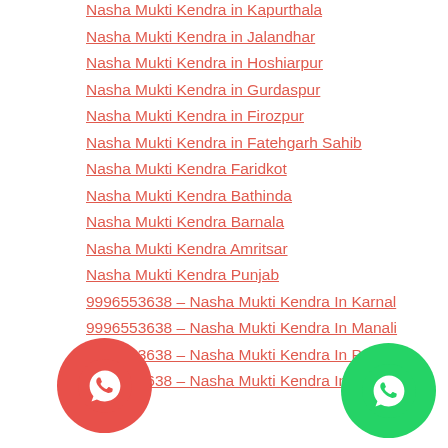Nasha Mukti Kendra in Kapurthala
Nasha Mukti Kendra in Jalandhar
Nasha Mukti Kendra in Hoshiarpur
Nasha Mukti Kendra in Gurdaspur
Nasha Mukti Kendra in Firozpur
Nasha Mukti Kendra in Fatehgarh Sahib
Nasha Mukti Kendra Faridkot
Nasha Mukti Kendra Bathinda
Nasha Mukti Kendra Barnala
Nasha Mukti Kendra Amritsar
Nasha Mukti Kendra Punjab
9996553638 – Nasha Mukti Kendra In Karnal
9996553638 – Nasha Mukti Kendra In Manali
9996553638 – Nasha Mukti Kendra In Panipat
9996553638 – Nasha Mukti Kendra In Chandigarh
[Figure (other): Red WhatsApp button (circle) on left side]
[Figure (other): Green WhatsApp button (circle) on bottom right]